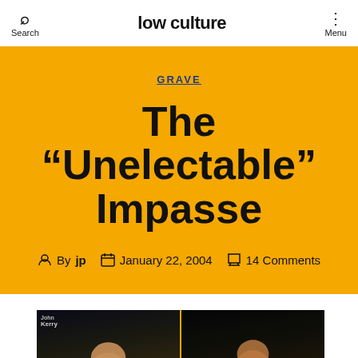Search | low culture | Menu
GRAVE
The “Unelectable” Impasse
By jp  January 22, 2004  14 Comments
[Figure (photo): Side-by-side photo of two politicians celebrating with raised fists at campaign rallies, separated by an orange vertical divider. Left image shows John Kerry at a Kerry campaign event with supporters. Right image shows another candidate celebrating.]